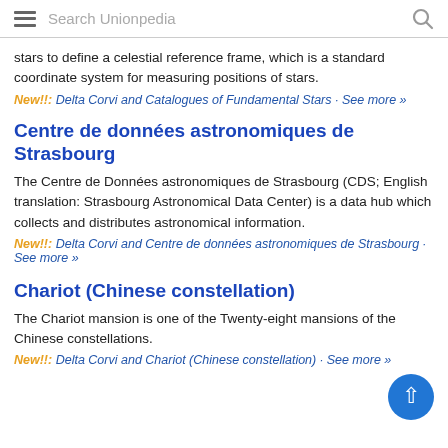Search Unionpedia
stars to define a celestial reference frame, which is a standard coordinate system for measuring positions of stars.
New!!: Delta Corvi and Catalogues of Fundamental Stars · See more »
Centre de données astronomiques de Strasbourg
The Centre de Données astronomiques de Strasbourg (CDS; English translation: Strasbourg Astronomical Data Center) is a data hub which collects and distributes astronomical information.
New!!: Delta Corvi and Centre de données astronomiques de Strasbourg · See more »
Chariot (Chinese constellation)
The Chariot mansion is one of the Twenty-eight mansions of the Chinese constellations.
New!!: Delta Corvi and Chariot (Chinese constellation) · See more »